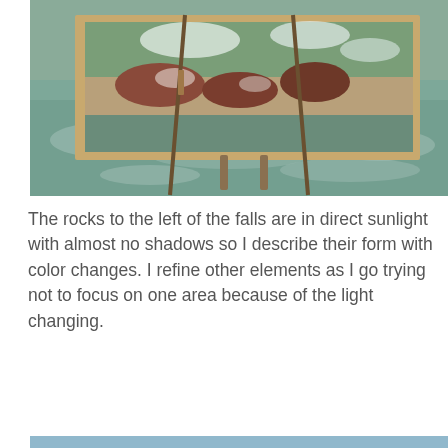[Figure (photo): An oil painting on an easel set against a rushing waterfall and river rapids. The painting shows abstract impressionistic brushstrokes of green, red, brown and white depicting water and rocks.]
The rocks to the left of the falls are in direct sunlight with almost no shadows so I describe their form with color changes. I refine other elements as I go trying not to focus on one area because of the light changing.
[Figure (photo): An oil painting on an easel positioned outdoors in front of a rocky river with waterfalls. The painting shows rocky outcroppings, waterfalls, and turbulent water in the style of plein air painting. A scroll-up navigation button is visible in the bottom-right corner of the image.]